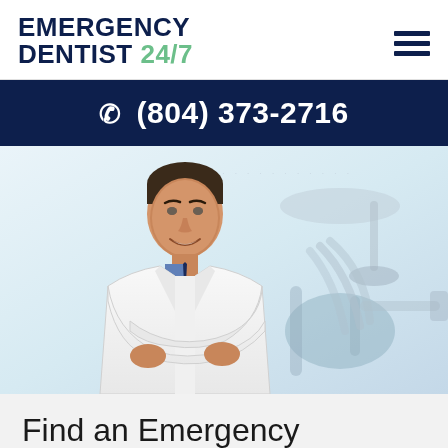EMERGENCY DENTIST 24/7
(804) 373-2716
[Figure (photo): A smiling male dentist in a white lab coat with arms crossed, standing in front of blurred dental office equipment]
Find an Emergency